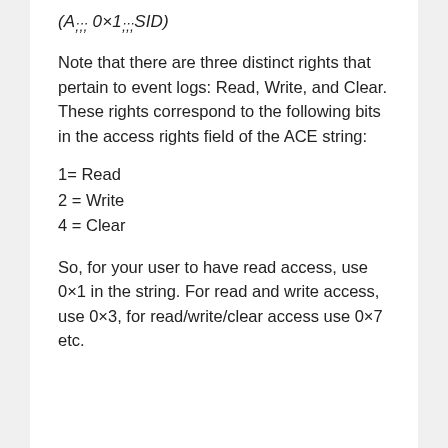Note that there are three distinct rights that pertain to event logs: Read, Write, and Clear. These rights correspond to the following bits in the access rights field of the ACE string:
1= Read
2 = Write
4 = Clear
So, for your user to have read access, use 0×1 in the string. For read and write access, use 0×3, for read/write/clear access use 0×7 etc.